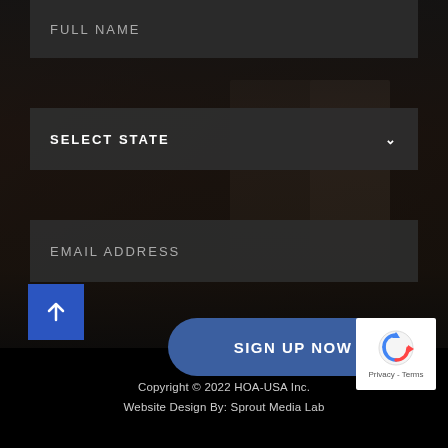[Figure (screenshot): Form input field placeholder: FULL NAME on dark background]
[Figure (screenshot): Dropdown select field: SELECT STATE with chevron arrow on dark background]
[Figure (screenshot): Form input field placeholder: EMAIL ADDRESS on dark background]
[Figure (screenshot): Blue rounded button labeled SIGN UP NOW]
[Figure (screenshot): Blue square back-to-top arrow button]
Copyright © 2022 HOA-USA Inc.
Website Design By: Sprout Media Lab
[Figure (logo): reCAPTCHA badge with Privacy and Terms links]